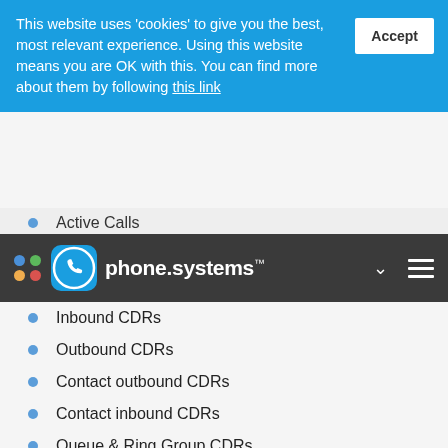This website uses 'cookies' to give you the best, most relevant experience. Using this website means you are OK with this. You can find more about them by following this link
Active Calls
[Figure (logo): phone.systems logo with phone icon in blue circle]
Inbound CDRs
Outbound CDRs
Contact outbound CDRs
Contact inbound CDRs
Queue & Ring Group CDRs
Delivery Logs
Exporting Call Logs
Feature Codes
Attended DTMF Transfer